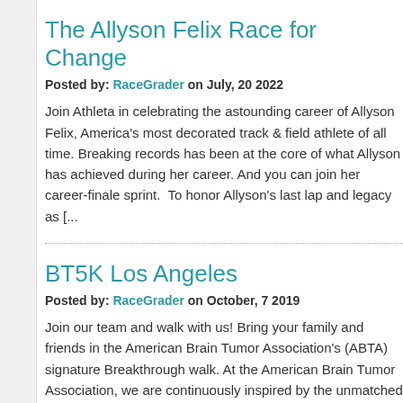The Allyson Felix Race for Change
Posted by: RaceGrader on July, 20 2022
Join Athleta in celebrating the astounding career of Allyson Felix, America's most decorated track & field athlete of all time. Breaking records has been at the core of what Allyson has achieved during her career. And you can join her career-finale sprint.  To honor Allyson's last lap and legacy as [...]
BT5K Los Angeles
Posted by: RaceGrader on October, 7 2019
Join our team and walk with us! Bring your family and friends in the American Brain Tumor Association's (ABTA) signature Breakthrough walk. At the American Brain Tumor Association, we are continuously inspired by the unmatched generosity of our greater Los Angeles community and their commitment to our mission. [...]